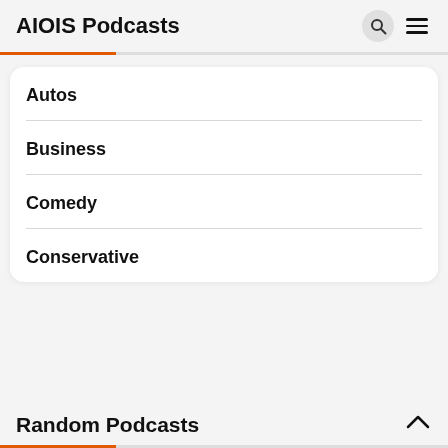AIOIS Podcasts
Autos
Business
Comedy
Conservative
Random Podcasts